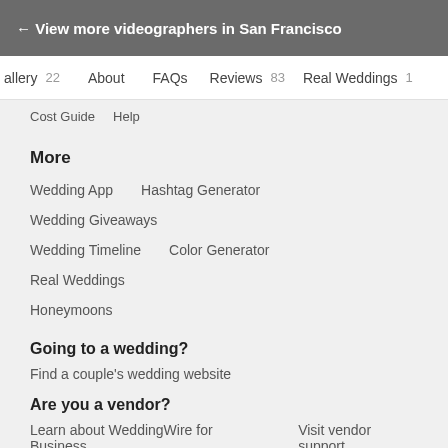← View more videographers in San Francisco
allery 22   About   FAQs   Reviews 83   Real Weddings 1
Cost Guide   Help
More
Wedding App
Hashtag Generator
Wedding Giveaways
Wedding Timeline
Color Generator
Real Weddings
Honeymoons
Going to a wedding?
Find a couple's wedding website
Are you a vendor?
Learn about WeddingWire for Business   Visit vendor support
Download the WeddingWire A…